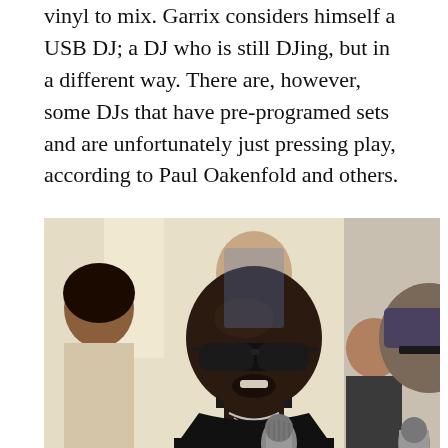vinyl to mix. Garrix considers himself a USB DJ; a DJ who is still DJing, but in a different way. There are, however, some DJs that have pre-programed sets and are unfortunately just pressing play, according to Paul Oakenfold and others.
[Figure (photo): A bald Black man wearing dark sunglasses and a black shirt with a chain necklace speaks into a microphone held by someone off-frame right. Several other people are visible in the background in what appears to be an indoor venue.]